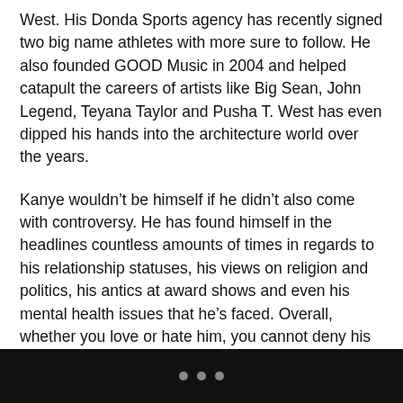West. His Donda Sports agency has recently signed two big name athletes with more sure to follow. He also founded GOOD Music in 2004 and helped catapult the careers of artists like Big Sean, John Legend, Teyana Taylor and Pusha T. West has even dipped his hands into the architecture world over the years.
Kanye wouldn’t be himself if he didn’t also come with controversy. He has found himself in the headlines countless amounts of times in regards to his relationship statuses, his views on religion and politics, his antics at award shows and even his mental health issues that he’s faced. Overall, whether you love or hate him, you cannot deny his impact on our culture and especially the music industry. He is one of a kind and has influenced so many people over his time in the game. We salute a true legend on his birthday and to celebrate, we put together a gallery of
...